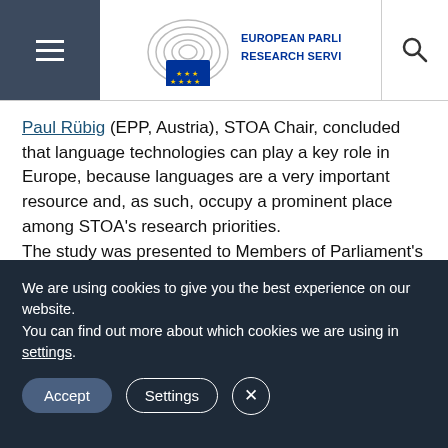European Parliamentary Research Service
Paul Rübig (EPP, Austria), STOA Chair, concluded that language technologies can play a key role in Europe, because languages are a very important resource and, as such, occupy a prominent place among STOA's research priorities.
The study was presented to Members of Parliament's Industry, Research and Energy and Culture & Education Committees on 25 January 2017, receiving very positive feedback. To keep up to date with this project and other STOA activities, follow our website, the EPRS blog, Twitter and Think Tank pages.
We are using cookies to give you the best experience on our website.
You can find out more about which cookies we are using in settings.